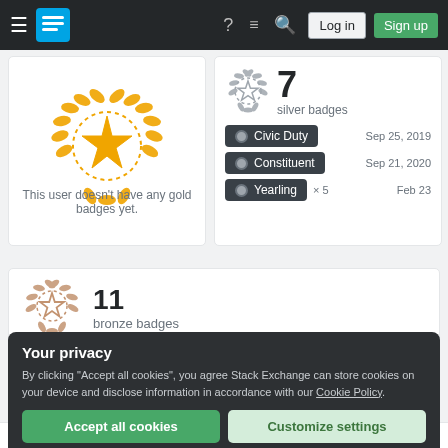Stack Exchange navigation bar with Log in and Sign up buttons
[Figure (illustration): Gold badge icon: laurel wreath with star, golden colored]
This user doesn't have any gold badges yet.
[Figure (illustration): Silver badge icon: laurel wreath with star, silver/grey colored, with number 7]
7 silver badges
Civic Duty — Sep 25, 2019
Constituent — Sep 21, 2020
Yearling × 5 — Feb 23
[Figure (illustration): Bronze badge icon: laurel wreath with star, bronze/tan colored]
11 bronze badges
Your privacy
By clicking "Accept all cookies", you agree Stack Exchange can store cookies on your device and disclose information in accordance with our Cookie Policy.
Accept all cookies
Customize settings
Bookmarks
Score  Activity  Newest  Views  Added